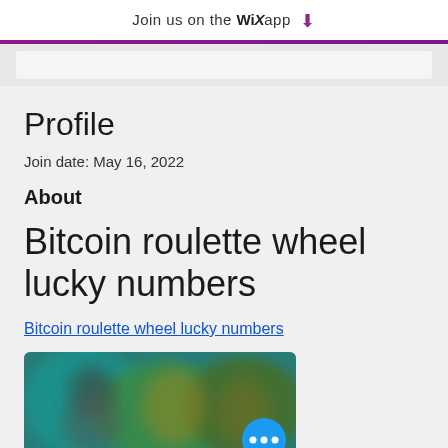Join us on the WiX app
Profile
Join date: May 16, 2022
About
Bitcoin roulette wheel lucky numbers
Bitcoin roulette wheel lucky numbers
[Figure (photo): Blurred screenshot of people, blue/teal tones, with a blue circular button showing three dots (more options button) in the bottom right]